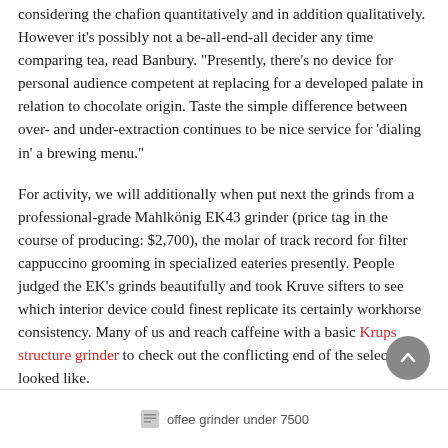considering the chafion quantitatively and in addition qualitatively. However it's possibly not a be-all-end-all decider any time comparing tea, read Banbury. "Presently, there's no device for personal audience competent at replacing for a developed palate in relation to chocolate origin. Taste the simple difference between over- and under-extraction continues to be nice service for 'dialing in' a brewing menu."
For activity, we will additionally when put next the grinds from a professional-grade Mahlkönig EK43 grinder (price tag in the course of producing: $2,700), the molar of track record for filter cappuccino grooming in specialized eateries presently. People judged the EK's grinds beautifully and took Kruve sifters to see which interior device could finest replicate its certainly workhorse consistency. Many of us and reach caffeine with a basic Krups structure grinder to check out the conflicting end of the selection looked like.
offee grinder under 7500